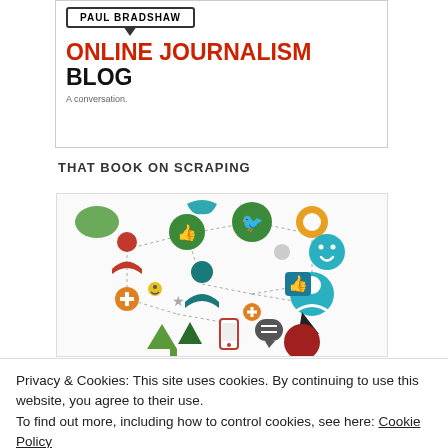[Figure (logo): Online Journalism Blog header with 'PAUL BRADSHAW' speech bubble, red and black 'ONLINE JOURNALISM BLOG' title, and subtitle 'A conversation.']
THAT BOOK ON SCRAPING
[Figure (illustration): Social media network illustration with colorful icons including person silhouettes, thumbs up, Twitter bird, smiley face, gear, chat bubbles, smartphone, and a cursor pointer connected by dotted lines.]
Privacy & Cookies: This site uses cookies. By continuing to use this website, you agree to their use.
To find out more, including how to control cookies, see here: Cookie Policy
Close and accept